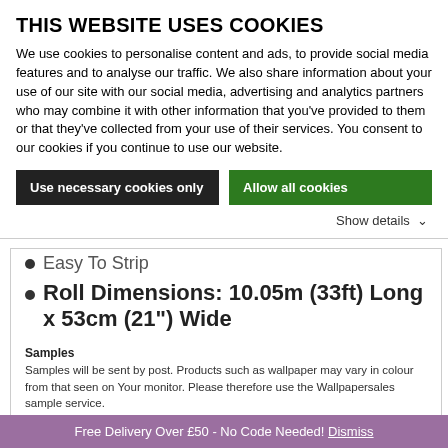THIS WEBSITE USES COOKIES
We use cookies to personalise content and ads, to provide social media features and to analyse our traffic. We also share information about your use of our site with our social media, advertising and analytics partners who may combine it with other information that you've provided to them or that they've collected from your use of their services. You consent to our cookies if you continue to use our website.
Use necessary cookies only
Allow all cookies
Show details
Easy To Strip
Roll Dimensions: 10.05m (33ft) Long x 53cm (21") Wide
Samples
Samples will be sent by post. Products such as wallpaper may vary in colour from that seen on Your monitor. Please therefore use the Wallpapersales sample service.
Delivery
Delivery is free to a UK mainland address when you spend £50 or more (exclusions apply). Our standard carriage charge to UK mainland (England, Wales and
Free Delivery Over £50 - No Code Needed! Dismiss